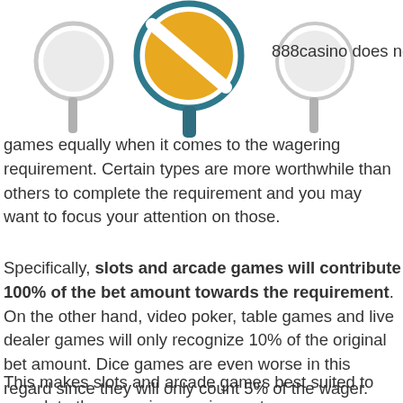[Figure (illustration): Three lollipop/stop-sign style icons: a smaller grey one on the left, a larger one in the center with a golden/orange circle and a diagonal slash (no-symbol), and a smaller grey one on the right. The center icon has a teal/dark blue stick.]
888casino does not treat all games equally when it comes to the wagering requirement. Certain types are more worthwhile than others to complete the requirement and you may want to focus your attention on those.
Specifically, slots and arcade games will contribute 100% of the bet amount towards the requirement. On the other hand, video poker, table games and live dealer games will only recognize 10% of the original bet amount. Dice games are even worse in this regard since they will only count 5% of the wager.
This makes slots and arcade games best suited to complete the wagering requirement.